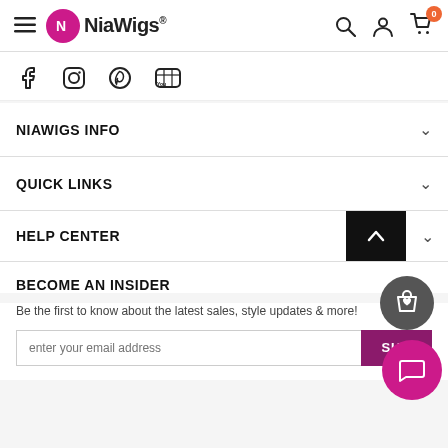NiaWigs® — navigation header with hamburger menu, logo, search, account, and cart icons
[Figure (screenshot): Social media icons row: Facebook, Instagram, Pinterest, YouTube]
NIAWIGS INFO
QUICK LINKS
HELP CENTER
BECOME AN INSIDER
Be the first to know about the latest sales, style updates & more!
enter your email address
SUBSCRIBE